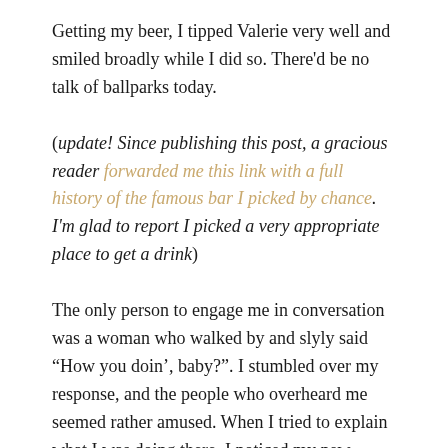Getting my beer, I tipped Valerie very well and smiled broadly while I did so. There'd be no talk of ballparks today.
(update! Since publishing this post, a gracious reader forwarded me this link with a full history of the famous bar I picked by chance. I'm glad to report I picked a very appropriate place to get a drink)
The only person to engage me in conversation was a woman who walked by and slyly said "How you doin', baby?". I stumbled over my response, and the people who overheard me seemed rather amused. When I tried to explain what I was doing there, I noticed my new friend had started to tickle my lower back. It would have been a good